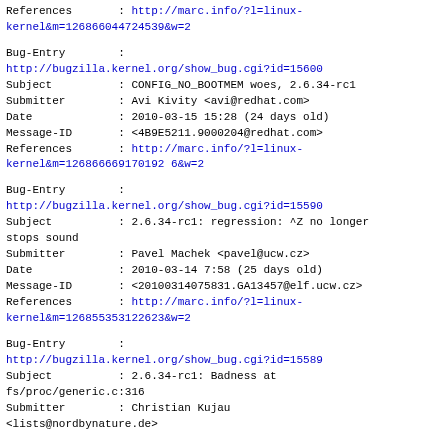References       : http://marc.info/?l=linux-kernel&m=126866044724539&w=2
Bug-Entry        :
http://bugzilla.kernel.org/show_bug.cgi?id=15600
Subject          : CONFIG_NO_BOOTMEM woes, 2.6.34-rc1
Submitter        : Avi Kivity <avi@redhat.com>
Date             : 2010-03-15 15:28 (24 days old)
Message-ID       : <4B9E5211.9000204@redhat.com>
References       : http://marc.info/?l=linux-kernel&m=126866669170192 6&w=2
Bug-Entry        :
http://bugzilla.kernel.org/show_bug.cgi?id=15590
Subject          : 2.6.34-rc1: regression: ^Z no longer stops sound
Submitter        : Pavel Machek <pavel@ucw.cz>
Date             : 2010-03-14 7:58 (25 days old)
Message-ID       : <20100314075831.GA13457@elf.ucw.cz>
References       : http://marc.info/?l=linux-kernel&m=126855353122623 &w=2
Bug-Entry        :
http://bugzilla.kernel.org/show_bug.cgi?id=15589
Subject          : 2.6.34-rc1: Badness at fs/proc/generic.c:316
Submitter        : Christian Kujau
<lists@nerdbynature.de>